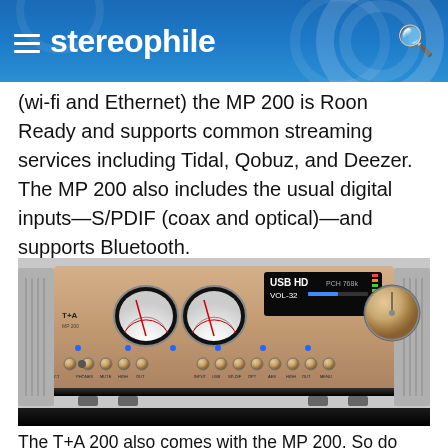stereophile
(wi-fi and Ethernet) the MP 200 is Roon Ready and supports common streaming services including Tidal, Qobuz, and Deezer. The MP 200 also includes the usual digital inputs—S/PDIF (coax and optical)—and supports Bluetooth.
[Figure (photo): Front panel of the T+A MP 200 integrated amplifier/streamer, showing dual VU meters, digital display reading 'USB HD PCH 768k VOL-32', and multiple control buttons and knobs in a champagne/gold finish]
The T+A 200 also comes with the MP 200. So do